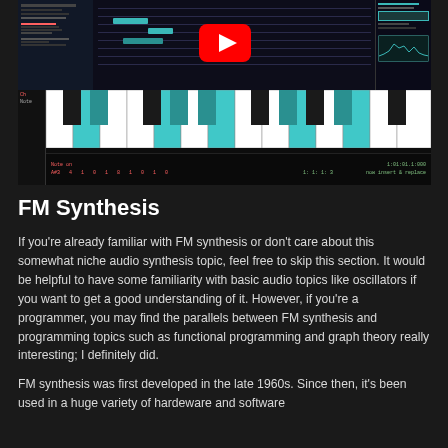[Figure (screenshot): A YouTube video thumbnail showing a digital audio workstation interface with a piano keyboard roll. The keyboard displays teal/cyan colored active keys. There is a YouTube play button (red with white triangle) overlaid in the center-top portion. The interface shows a dark-themed DAW with piano roll editor.]
FM Synthesis
If you're already familiar with FM synthesis or don't care about this somewhat niche audio synthesis topic, feel free to skip this section. It would be helpful to have some familiarity with basic audio topics like oscillators if you want to get a good understanding of it. However, if you're a programmer, you may find the parallels between FM synthesis and programming topics such as functional programming and graph theory really interesting; I definitely did.
FM synthesis was first developed in the late 1960s. Since then, it's been used in a huge variety of hardeware and software